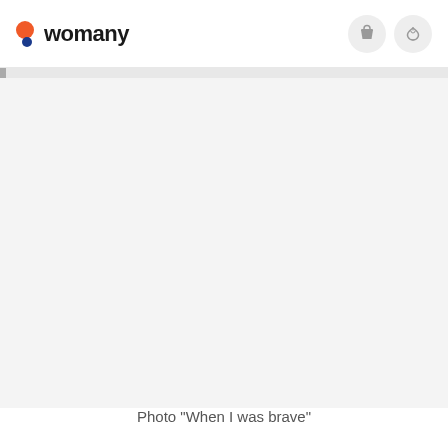womany
[Figure (other): Large light gray placeholder/blank content area below the navigation header]
Photo "When I was brave"